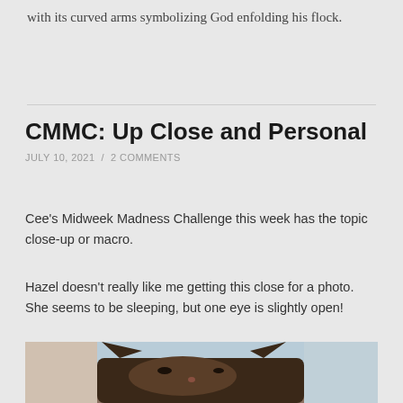with its curved arms symbolizing God enfolding his flock.
CMMC: Up Close and Personal
JULY 10, 2021 / 2 COMMENTS
Cee's Midweek Madness Challenge this week has the topic close-up or macro.
Hazel doesn't really like me getting this close for a photo. She seems to be sleeping, but one eye is slightly open!
[Figure (photo): Close-up photo of a cat (Hazel), partially cropped, showing the cat's face and ears from above. The cat appears to be resting with one eye slightly open.]